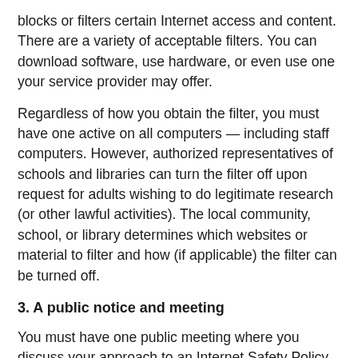blocks or filters certain Internet access and content. There are a variety of acceptable filters. You can download software, use hardware, or even use one your service provider may offer.
Regardless of how you obtain the filter, you must have one active on all computers — including staff computers. However, authorized representatives of schools and libraries can turn the filter off upon request for adults wishing to do legitimate research (or other lawful activities). The local community, school, or library determines which websites or material to filter and how (if applicable) the filter can be turned off.
3. A public notice and meeting
You must have one public meeting where you discuss your approach to an Internet Safety Policy.
Before the meeting, you're required to advertise the meeting. This can be through an email, a flyer, a phone call, or any way you deem appropriate for your school or library.